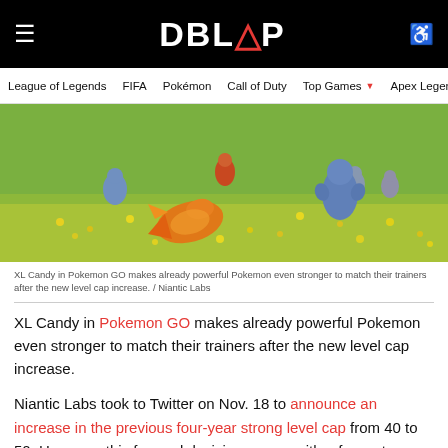DBLTAP
League of Legends  FIFA  Pokémon  Call of Duty  Top Games  Apex Legends  Overwatch
[Figure (photo): Pokemon GO characters including Chimchar, Machop, and Magikarp in a grassy field with yellow flowers]
XL Candy in Pokemon GO makes already powerful Pokemon even stronger to match their trainers after the new level cap increase. / Niantic Labs
XL Candy in Pokemon GO makes already powerful Pokemon even stronger to match their trainers after the new level cap increase.
Niantic Labs took to Twitter on Nov. 18 to announce an increase in the previous four-year strong level cap from 40 to 50. However, this forward decision comes with a few extra features to smooth the implementation into the game. XL Candy is just one example of this—as trainers now need to obtain a whole new item to power